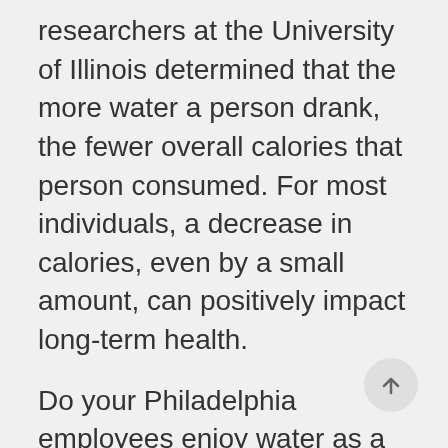researchers at the University of Illinois determined that the more water a person drank, the fewer overall calories that person consumed. For most individuals, a decrease in calories, even by a small amount, can positively impact long-term health.
Do your Philadelphia employees enjoy water as a pick-me-up during the day? If so, be sure to include bottled water in the office break room vending machine. For the ultimate employee bonus, consider covering part or all of the cost of healthy vending machine